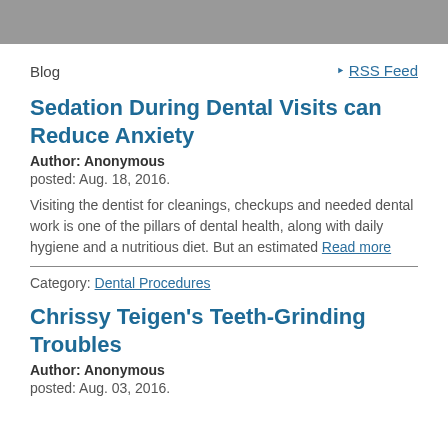Blog
RSS Feed
Sedation During Dental Visits can Reduce Anxiety
Author: Anonymous
posted: Aug. 18, 2016.
Visiting the dentist for cleanings, checkups and needed dental work is one of the pillars of dental health, along with daily hygiene and a nutritious diet. But an estimated Read more
Category: Dental Procedures
Chrissy Teigen's Teeth-Grinding Troubles
Author: Anonymous
posted: Aug. 03, 2016.